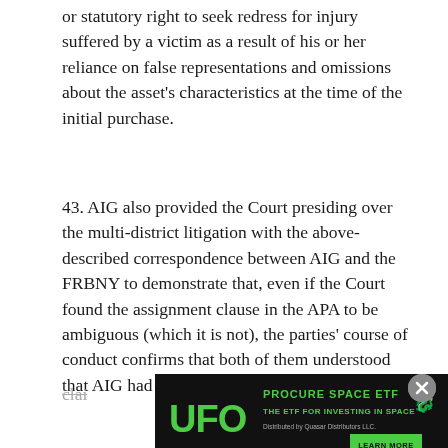or statutory right to seek redress for injury suffered by a victim as a result of his or her reliance on false representations and omissions about the asset's characteristics at the time of the initial purchase.
43. AIG also provided the Court presiding over the multi-district litigation with the above-described correspondence between AIG and the FRBNY to demonstrate that, even if the Court found the assignment clause in the APA to be ambiguous (which it is not), the parties' course of conduct confirms that both of them understood that AIG had not assigned its tort clai...
[Figure (other): Advertisement banner for 'UFO - Procure Space ETF: The ETF for Investing in Space. Distributed by Quasar Distributors LLC. Learn More.' with green text on black background and a dragon logo.]